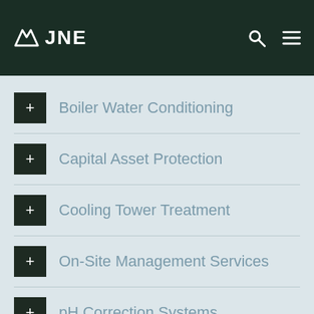JNE
Boiler Water Conditioning
Capital Asset Protection
Cooling Tower Treatment
On-Site Management Services
pH Correction Systems
This website uses cookies and third party services to improve user experience.